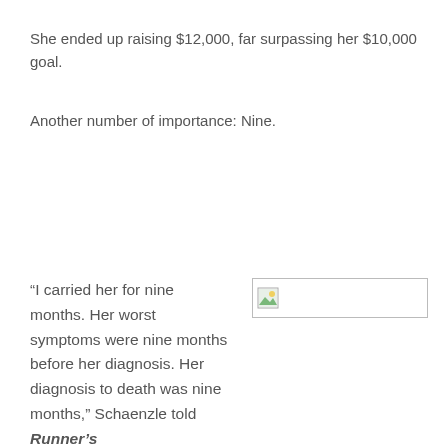She ended up raising $12,000, far surpassing her $10,000 goal.
Another number of importance: Nine.
“I carried her for nine months. Her worst symptoms were nine months before her diagnosis. Her diagnosis to death was nine months,” Schaenzle told Runner’s
[Figure (photo): Broken image placeholder thumbnail]